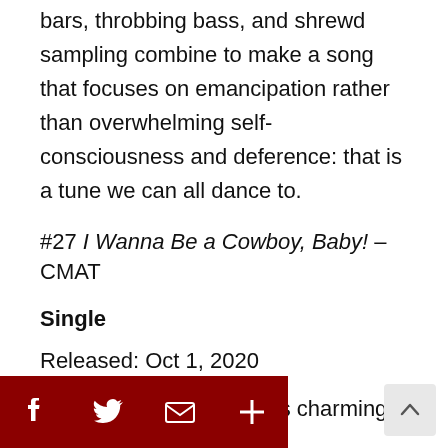bars, throbbing bass, and shrewd sampling combine to make a song that focuses on emancipation rather than overwhelming self-consciousness and deference: that is a tune we can all dance to.
#27 I Wanna Be a Cowboy, Baby! – CMAT
Single
Released: Oct 1, 2020
Dublin folk singer CMAT's charming single wins in for being simultaneously bizarre and strikingly simple. This track is pure enjoyment